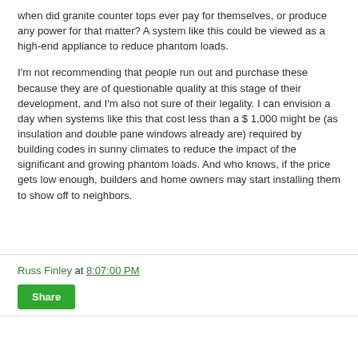when did granite counter tops ever pay for themselves, or produce any power for that matter? A system like this could be viewed as a high-end appliance to reduce phantom loads.
I'm not recommending that people run out and purchase these because they are of questionable quality at this stage of their development, and I'm also not sure of their legality. I can envision a day when systems like this that cost less than a $ 1,000 might be (as insulation and double pane windows already are) required by building codes in sunny climates to reduce the impact of the significant and growing phantom loads. And who knows, if the price gets low enough, builders and home owners may start installing them to show off to neighbors.
Russ Finley at 8:07:00 PM
Share